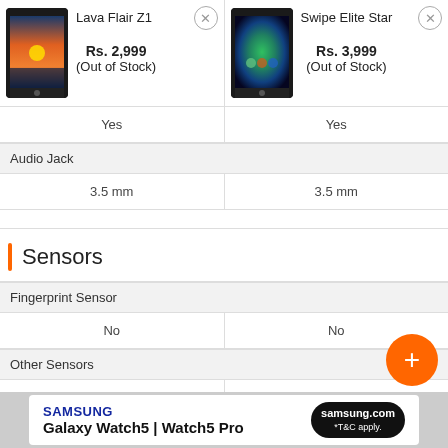[Figure (screenshot): Product comparison page showing Lava Flair Z1 (Rs. 2,999, Out of Stock) vs Swipe Elite Star (Rs. 3,999, Out of Stock) with specs including Audio Jack (3.5mm each), Sensors section, Fingerprint Sensor (No for both), Other Sensors (Proximity sensor, Accelerometer for both), an orange FAB button, and a Samsung Galaxy Watch5 advertisement banner at the bottom.]